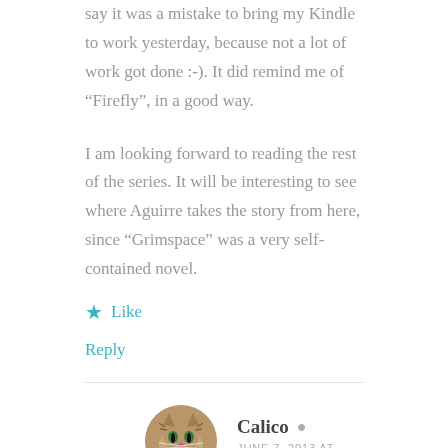say it was a mistake to bring my Kindle to work yesterday, because not a lot of work got done :-). It did remind me of “Firefly”, in a good way.
I am looking forward to reading the rest of the series. It will be interesting to see where Aguirre takes the story from here, since “Grimspace” was a very self-contained novel.
★ Like
Reply
Calico
JUNE 7, 2013 AT 5:23 PM